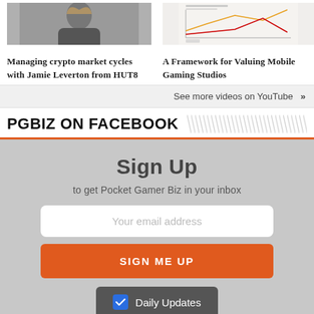[Figure (photo): Photo of a woman with long blonde hair, screenshot thumbnail for video about managing crypto market cycles]
Managing crypto market cycles with Jamie Leverton from HUT8
[Figure (screenshot): Thumbnail image showing a line chart for a framework paper on valuing mobile gaming studios]
A Framework for Valuing Mobile Gaming Studios
See more videos on YouTube  »
PGBIZ ON FACEBOOK
Sign Up
to get Pocket Gamer Biz in your inbox
Your email address
SIGN ME UP
Daily Updates